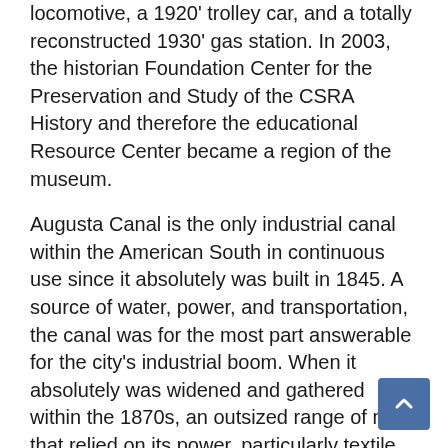locomotive, a 1920' trolley car, and a totally reconstructed 1930' gas station. In 2003, the historian Foundation Center for the Preservation and Study of the CSRA History and therefore the educational Resource Center became a region of the museum.
Augusta Canal is the only industrial canal within the American South in continuous use since it absolutely was built in 1845. A source of water, power, and transportation, the canal was for the most part answerable for the city's industrial boom. When it absolutely was widened and gathered within the 1870s, an outsized range of mills that relied on its power, particularly textile mills, were engineered on the canal, boosting town's industrial boom. Within the 1890s, the city put in the new, spectacular water pump house at mid-canal to interchange the original one, and therefore the pump continues to be supply Augusta residents with water today. Augusta Canal has been declared a National Heritage Area, and one amongst